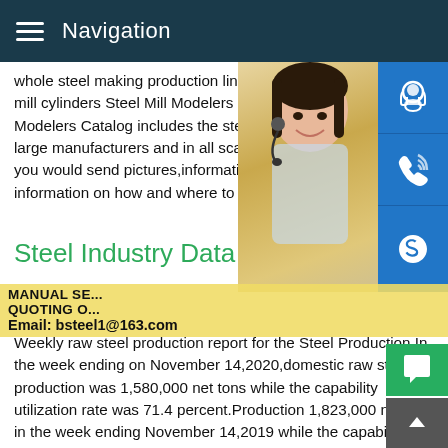Navigation
whole steel making production line.We have ALL the steel mill cylinders Steel Mill Modelers StahlbahnSteel Mill Modelers Catalog includes the steel mill modeler from large manufacturers and in all scale.Have anything that you would send pictures,information about the product information on how and where to purchase
[Figure (photo): Woman with headset customer service photo with blue icons for chat, phone, and Skype on the right side]
Steel Industry Data
Weekly raw steel production report for the Steel Production.In the week ending on November 14,2020,domestic raw steel production was 1,580,000 net tons while the capability utilization rate was 71.4 percent.Production 1,823,000 net tons in the week ending November 14,2019 while the capability utilization then was 78.8 percent.Steel Industry DataWeekly raw steel production report for the U.S.This Week